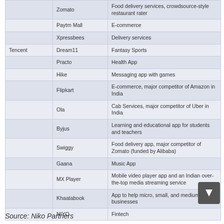|  | Company | Description |
| --- | --- | --- |
|  | Zomato | Food delivery services, crowdsource-style restaurant rater |
|  | Paytm Mall | E-commerce |
|  | Xpressbees | Delivery services |
| Tencent | Dream11 | Fantasy Sports |
|  | Practo | Health App |
|  | Hike | Messaging app with games |
|  | Flipkart | E-commerce, major competitor of Amazon in India |
|  | Ola | Cab Services, major competitor of Uber in India |
|  | Byjus | Learning and educational app for students and teachers |
|  | Swiggy | Food delivery app, major competitor of Zomato (funded by Alibaba) |
|  | Gaana | Music App |
|  | MX Player | Mobile video player app and an Indian over-the-top media streaming service |
|  | Khaatabook | App to help micro, small, and medium sized businesses |
|  | NIYO | Fintech |
Source: Niko Partners